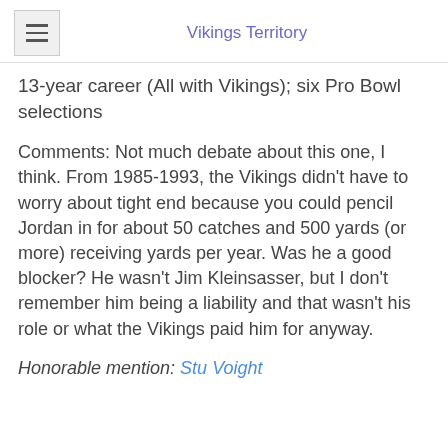Vikings Territory
13-year career (All with Vikings); six Pro Bowl selections
Comments: Not much debate about this one, I think. From 1985-1993, the Vikings didn't have to worry about tight end because you could pencil Jordan in for about 50 catches and 500 yards (or more) receiving yards per year. Was he a good blocker? He wasn't Jim Kleinsasser, but I don't remember him being a liability and that wasn't his role or what the Vikings paid him for anyway.
Honorable mention: Stu Voight